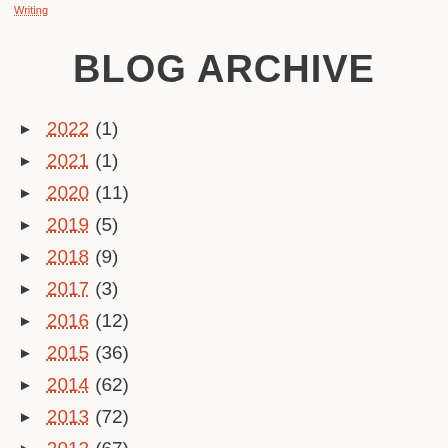Writing
BLOG ARCHIVE
2022 (1)
2021 (1)
2020 (11)
2019 (5)
2018 (9)
2017 (3)
2016 (12)
2015 (36)
2014 (62)
2013 (72)
2012 (67)